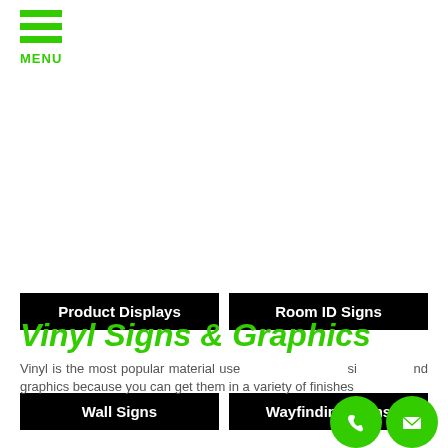[Figure (other): Hamburger menu icon with three green horizontal bars and MENU label]
Product Displays
Room ID Signs
Wall Signs
Wayfinding Signs
Vinyl Signs & Graphics
Vinyl is the most popular material used for signs and graphics because you can get them in a variety of finishes